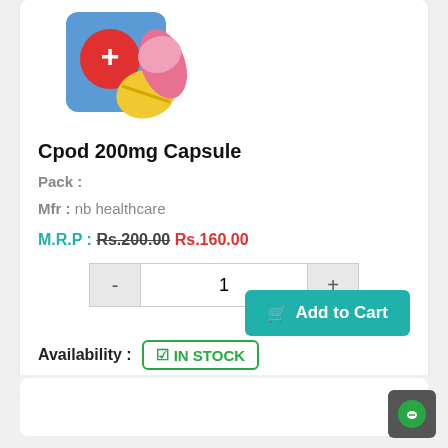[Figure (illustration): Medical product illustration showing a blue medicine card with a red circle and white plus sign, alongside a yellow pill and pink capsule]
Cpod 200mg Capsule
Pack :
Mfr : nb healthcare
M.R.P : Rs.200.00 Rs.160.00
1
Add to Cart
Availability : IN STOCK